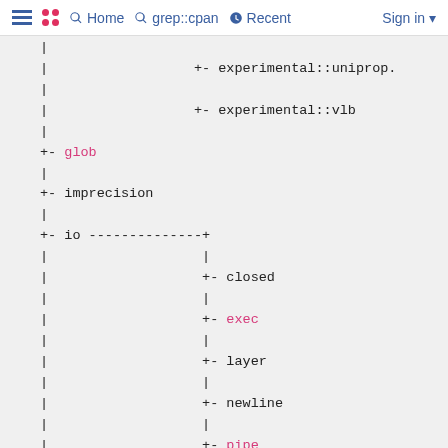Home  grep::cpan  Recent  Sign in
Tree listing showing experimental::uniprop, experimental::vlb, glob, imprecision, io (with children: closed, exec, layer, newline, pipe, syscalls, unopened), locale